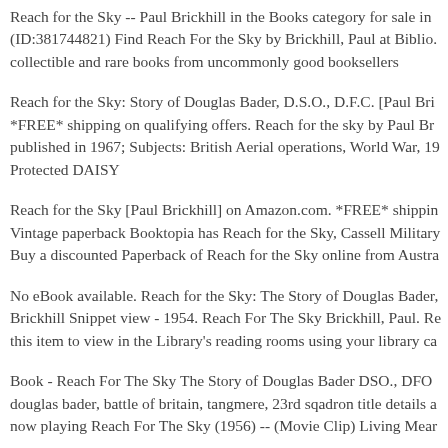Reach for the Sky -- Paul Brickhill in the Books category for sale in (ID:381744821) Find Reach For the Sky by Brickhill, Paul at Biblio. collectible and rare books from uncommonly good booksellers
Reach for the Sky: Story of Douglas Bader, D.S.O., D.F.C. [Paul Bri *FREE* shipping on qualifying offers. Reach for the sky by Paul Br published in 1967; Subjects: British Aerial operations, World War, 19 Protected DAISY
Reach for the Sky [Paul Brickhill] on Amazon.com. *FREE* shippi Vintage paperback Booktopia has Reach for the Sky, Cassell Military Buy a discounted Paperback of Reach for the Sky online from Austra
No eBook available. Reach for the Sky: The Story of Douglas Bader, Brickhill Snippet view - 1954. Reach For The Sky Brickhill, Paul. Re this item to view in the Library's reading rooms using your library ca
Book - Reach For The Sky The Story of Douglas Bader DSO., DFO douglas bader, battle of britain, tangmere, 23rd sqadron title details a now playing Reach For The Sky (1956) -- (Movie Clip) Living Mear